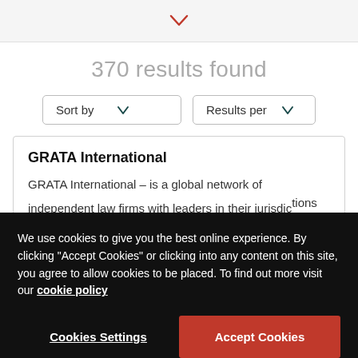[Figure (screenshot): Top navigation bar with a red downward chevron icon centered]
370 results found
[Figure (screenshot): Sort by dropdown button and Results per dropdown button]
GRATA International
GRATA International – is a global network of independent law firms with leaders in their jurisdictions
We use cookies to give you the best online experience. By clicking "Accept Cookies" or clicking into any content on this site, you agree to allow cookies to be placed. To find out more visit our cookie policy